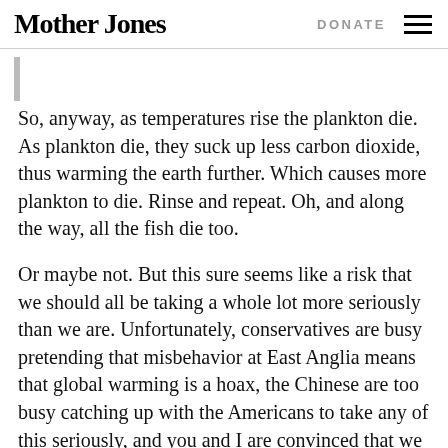Mother Jones | DONATE
So, anyway, as temperatures rise the plankton die. As plankton die, they suck up less carbon dioxide, thus warming the earth further. Which causes more plankton to die. Rinse and repeat. Oh, and along the way, all the fish die too.
Or maybe not. But this sure seems like a risk that we should all be taking a whole lot more seriously than we are. Unfortunately, conservatives are busy pretending that misbehavior at East Anglia means that global warming is a hoax, the Chinese are too busy catching up with the Americans to take any of this seriously, and you and I are convinced that we